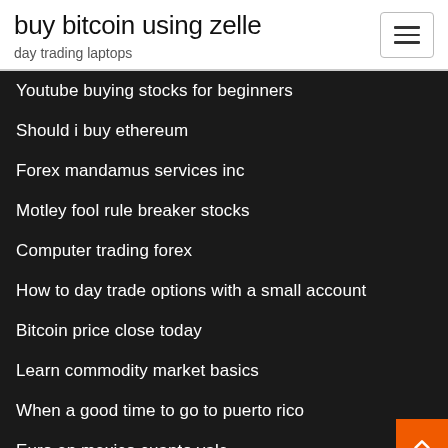buy bitcoin using zelle
day trading laptops
Youtube buying stocks for beginners
Should i buy ethereum
Forex mandamus services inc
Motley fool rule breaker stocks
Computer trading forex
How to day trade options with a small account
Bitcoin price close today
Learn commodity market basics
When a good time to go to puerto rico
Euro en mexico cuanto vale